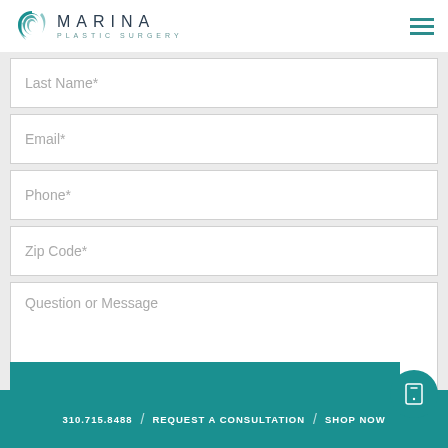[Figure (logo): Marina Plastic Surgery logo with teal swirl icon and text MARINA PLASTIC SURGERY]
Last Name*
Email*
Phone*
Zip Code*
Question or Message
310.715.8488 / REQUEST A CONSULTATION / SHOP NOW